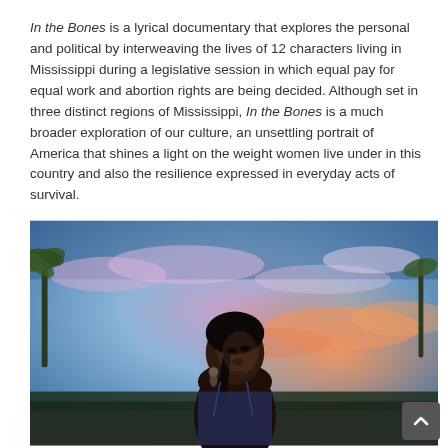In the Bones is a lyrical documentary that explores the personal and political by interweaving the lives of 12 characters living in Mississippi during a legislative session in which equal pay for equal work and abortion rights are being decided. Although set in three distinct regions of Mississippi, In the Bones is a much broader exploration of our culture, an unsettling portrait of America that shines a light on the weight women live under in this country and also the resilience expressed in everyday acts of survival.
[Figure (photo): A Black woman looking upward against a dusk sky with blue and pink/orange clouds. She has her hair in a braid and is wearing a blue patterned spaghetti-strap top and hoop earrings. Trees and a street scene are visible in the background.]